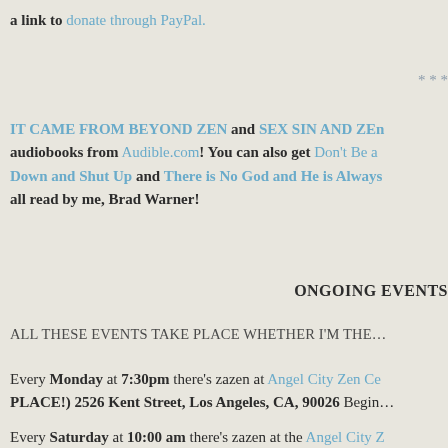a link to donate through PayPal.
* * *
IT CAME FROM BEYOND ZEN and SEX SIN AND ZEN audiobooks from Audible.com! You can also get Don't Be a Down and Shut Up and There is No God and He is Always all read by me, Brad Warner!
ONGOING EVENTS
ALL THESE EVENTS TAKE PLACE WHETHER I'M THE
Every Monday at 7:30pm there's zazen at Angel City Zen Ce PLACE!) 2526 Kent Street, Los Angeles, CA, 90026 Begin
Every Saturday at 10:00 am there's zazen at the Angel City Z PLACE!) 2526 Kent Street, Los Angeles, CA, 90026 B